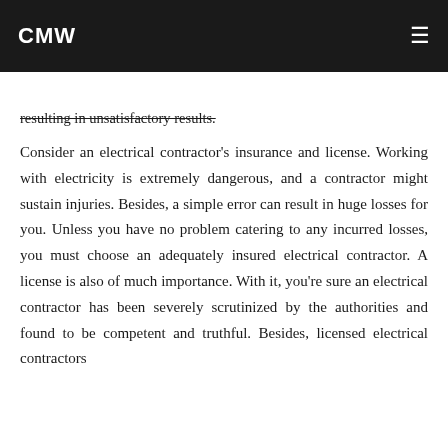CMW
contractor has many negative comments, avoid as they'll take corners with your work,
resulting in unsatisfactory results.
Consider an electrical contractor's insurance and license. Working with electricity is extremely dangerous, and a contractor might sustain injuries. Besides, a simple error can result in huge losses for you. Unless you have no problem catering to any incurred losses, you must choose an adequately insured electrical contractor. A license is also of much importance. With it, you're sure an electrical contractor has been severely scrutinized by the authorities and found to be competent and truthful. Besides, licensed electrical contractors